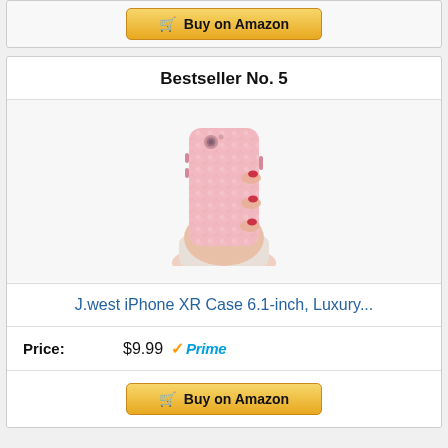[Figure (other): Buy on Amazon button at top of page]
Bestseller No. 5
[Figure (photo): Pink glitter leopard print iPhone XR case held in hand]
J.west iPhone XR Case 6.1-inch, Luxury...
Price: $9.99 Prime
[Figure (other): Buy on Amazon button at bottom of page]